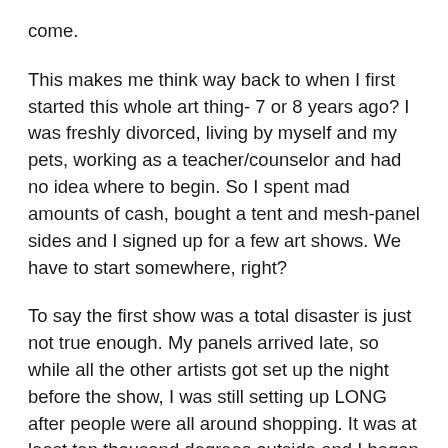come.
This makes me think way back to when I first started this whole art thing- 7 or 8 years ago?  I was freshly divorced, living by myself and my pets, working as a teacher/counselor and had no idea where to begin.  So I spent mad amounts of cash, bought a tent and mesh-panel sides and I signed up for a few art shows.  We have to start somewhere, right?
To say the first show was a total disaster is just not true enough.  My panels arrived late, so while all the other artists got set up the night before the show, I was still setting up LONG after people were all around shopping.  It was at least ten thousand degrees outside and I began literally and figuratively melting down.  I needed an engineering degree (which I clearly did not have) to figure out how to set up the sides and hang